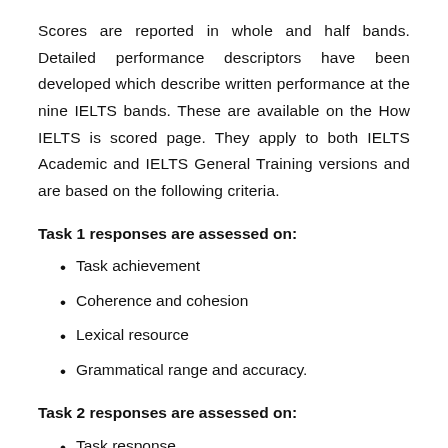Scores are reported in whole and half bands. Detailed performance descriptors have been developed which describe written performance at the nine IELTS bands. These are available on the How IELTS is scored page. They apply to both IELTS Academic and IELTS General Training versions and are based on the following criteria.
Task 1 responses are assessed on:
Task achievement
Coherence and cohesion
Lexical resource
Grammatical range and accuracy.
Task 2 responses are assessed on:
Task response